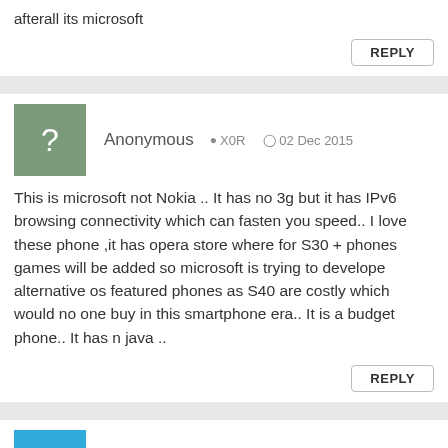afterall its microsoft
REPLY
Anonymous · X0R · 02 Dec 2015
This is microsoft not Nokia .. It has no 3g but it has IPv6 browsing connectivity which can fasten you speed.. I love these phone ,it has opera store where for S30 + phones games will be added so microsoft is trying to develope alternative os featured phones as S40 are costly which would no one buy in this smartphone era.. It is a budget phone.. It has n java ..
REPLY
ziwziw · my@ · 02 Dec 2015